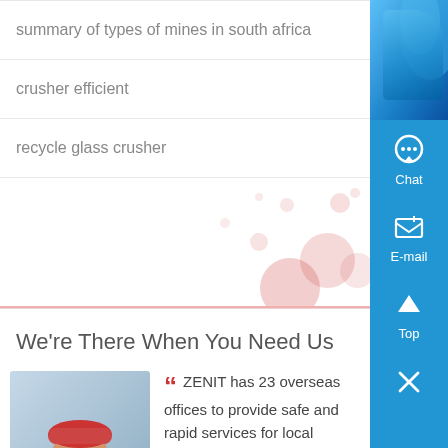summary of types of mines in south africa
crusher efficient
recycle glass crusher
[Figure (illustration): Decorative area with pink/red bubble shapes and dots on a light background]
We’re There When You Need Us
ZENIT has 23 overseas offices to provide safe and rapid services for local customers. - Jhon Kalis
[Figure (photo): Person in blue work uniform with yellow vest and red hard hat, arms crossed]
[Figure (illustration): Blue sidebar with Chat, E-mail, Top, and close (x) buttons]